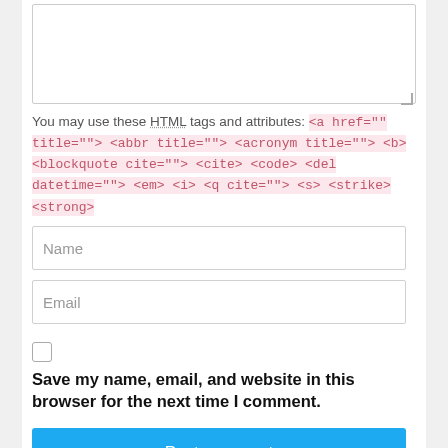[Figure (screenshot): Textarea input box (empty comment field) with resize handle at bottom right]
You may use these HTML tags and attributes: <a href="" title=""> <abbr title=""> <acronym title=""> <b> <blockquote cite=""> <cite> <code> <del datetime=""> <em> <i> <q cite=""> <s> <strike> <strong>
[Figure (screenshot): Name input field]
[Figure (screenshot): Email input field]
[Figure (screenshot): Checkbox (unchecked)]
Save my name, email, and website in this browser for the next time I comment.
[Figure (screenshot): Post comment button (blue)]